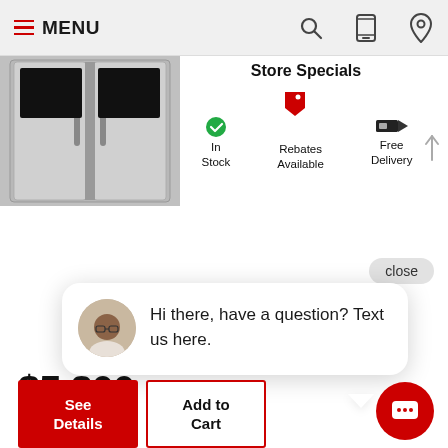[Figure (screenshot): Navigation bar with hamburger MENU icon, search icon, mobile phone icon, and location pin icon on a light gray background]
[Figure (photo): Stainless steel French door refrigerator product image]
Store Specials
[Figure (illustration): Red price tag icon indicating Rebates Available]
In Stock   Rebates Available   Free Delivery
Hi there, have a question? Text us here.
$5,800
See Details
Add to Cart